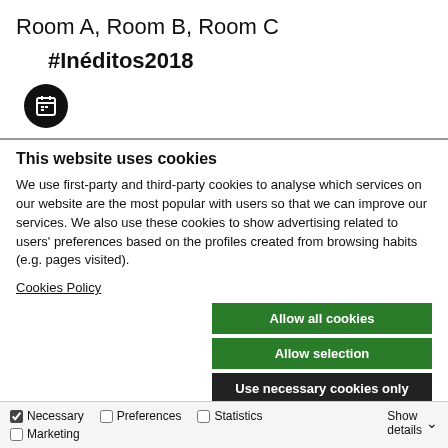Room A, Room B, Room C
#Inéditos2018
[Figure (illustration): Calendar icon — white calendar glyph on black circle background]
This website uses cookies
We use first-party and third-party cookies to analyse which services on our website are the most popular with users so that we can improve our services. We also use these cookies to show advertising related to users' preferences based on the profiles created from browsing habits (e.g. pages visited).
Cookies Policy
Allow all cookies
Allow selection
Use necessary cookies only
Necessary  Preferences  Statistics  Marketing  Show details